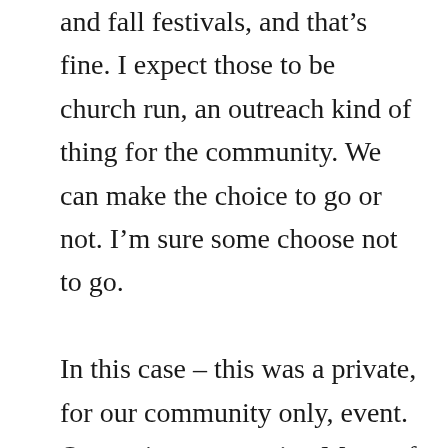and fall festivals, and that's fine. I expect those to be church run, an outreach kind of thing for the community. We can make the choice to go or not. I'm sure some choose not to go.

In this case – this was a private, for our community only, event. Our entire community. Many of our community are not Christian, and my Muslim neighbors, for example, might feel like they had to chose to not attend. That's not fair to them.